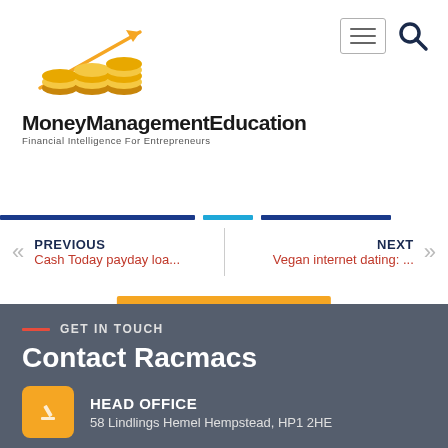[Figure (logo): MoneyManagementEducation logo with gold coins and upward arrow, text 'MoneyManagementEducation' and subtitle 'Financial Intelligence For Entrepreneurs']
[Figure (other): Hamburger navigation button and search icon in top right]
LET'S TALK
PREVIOUS
Cash Today payday loa...
NEXT
Vegan internet dating: ...
GET IN TOUCH
Contact Racmacs
HEAD OFFICE
58 Lindlings Hemel Hempstead, HP1 2HE
MAIL US